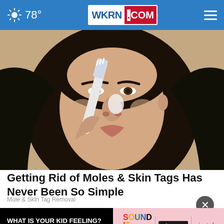78° WKRN.COM
[Figure (photo): Close-up photo of a young woman with long dark hair applying something white to her nose with a toothbrush.]
Getting Rid of Moles & Skin Tags Has Never Been So Simple
Mole & Skin Tag Removal
[Figure (screenshot): Ad banner: 'WHAT IS YOUR KID FEELING? GET SONGS TO SOUND IT OUT.' with Sound It Out, Ad Council, and Pivotal logos.]